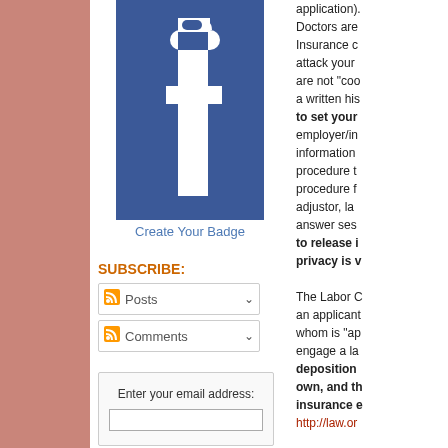[Figure (logo): Facebook logo badge image in blue with white 'f' letter]
Create Your Badge
SUBSCRIBE:
[Figure (screenshot): Posts RSS feed subscription dropdown widget]
[Figure (screenshot): Comments RSS feed subscription dropdown widget]
[Figure (screenshot): Enter your email address input box]
application). Doctors are Insurance c attack your are not "coo a written his to set your employer/in information procedure t procedure f adjustor, la answer ses to release i privacy is v The Labor C an applicant whom is "ap engage a la deposition own, and th insurance e http://law.or